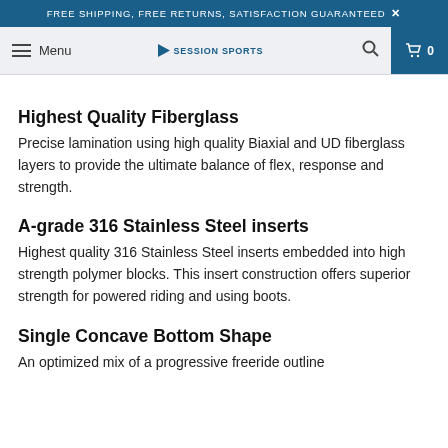FREE SHIPPING, FREE RETURNS, SATISFACTION GUARANTEED ×
Menu | SESSION SPORTS | 🔍 | 🛒 0
Highest Quality Fiberglass
Precise lamination using high quality Biaxial and UD fiberglass layers to provide the ultimate balance of flex, response and strength.
A-grade 316 Stainless Steel inserts
Highest quality 316 Stainless Steel inserts embedded into high strength polymer blocks. This insert construction offers superior strength for powered riding and using boots.
Single Concave Bottom Shape
An optimized mix of a progressive freeride outline